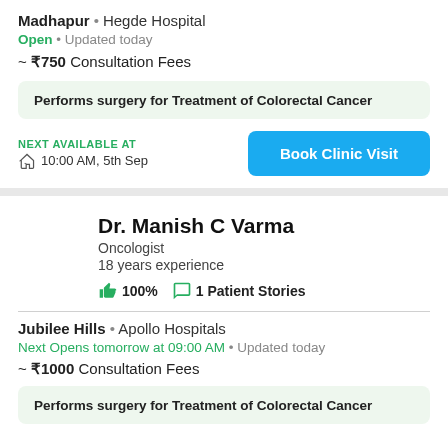Madhapur • Hegde Hospital
Open • Updated today
~ ₹750 Consultation Fees
Performs surgery for Treatment of Colorectal Cancer
NEXT AVAILABLE AT
10:00 AM, 5th Sep
Book Clinic Visit
Dr. Manish C Varma
Oncologist
18 years experience
👍100%  💬 1 Patient Stories
Jubilee Hills • Apollo Hospitals
Next Opens tomorrow at 09:00 AM • Updated today
~ ₹1000 Consultation Fees
Performs surgery for Treatment of Colorectal Cancer